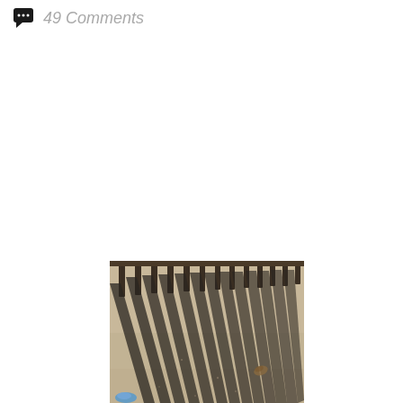49 Comments
[Figure (photo): Beach sand with a row of wooden fence posts casting long diagonal shadows across the sand. A small blue object is visible at the bottom edge of the image, and a dried leaf or shell is visible in the lower right area.]